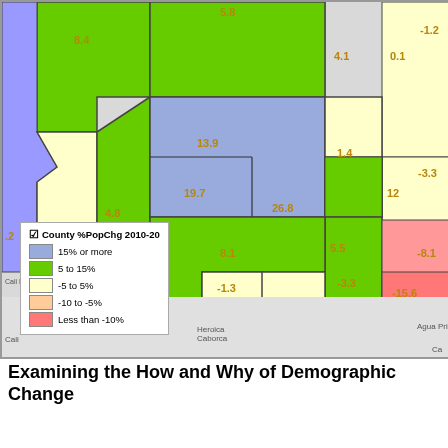[Figure (map): Choropleth map of Arizona and surrounding counties showing County % Population Change 2010-20. Legend: blue = 15% or more, green = 5 to 15%, light yellow = -5 to 5%, peach = -10 to -5%, pink/red = Less than -10%. County values labeled: 8.4, 5.8, 4.1, 0.1, -1.2, 13.9, 1.4, -3.3, 4.8, 19.7, 26.8, 5.5, 12, -8.1, .2, 10.5, 8.1, -3.3, -1.3, -15.6]
Examining the How and Why of Demographic Change